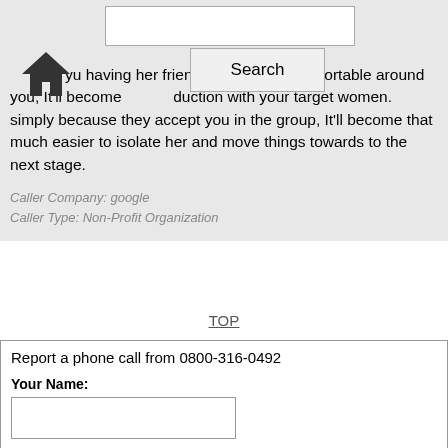Search
you having her friends around you, It'll become M comfortable around you, It'll become duction with your target women. simply because they accept you in the group, It'll become that much easier to isolate her and move things towards to the next stage.
Caller Company: google
Caller Type: Non-Profit Organization
TOP
Report a phone call from 0800-316-0492
Your Name:
Message: